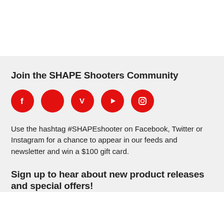Join the SHAPE Shooters Community
[Figure (illustration): Five red circular social media icons in a row: Facebook (f), Twitter (bird), Vimeo (V), YouTube (play button), Instagram (camera outline)]
Use the hashtag #SHAPEshooter on Facebook, Twitter or Instagram for a chance to appear in our feeds and newsletter and win a $100 gift card.
Sign up to hear about new product releases and special offers!